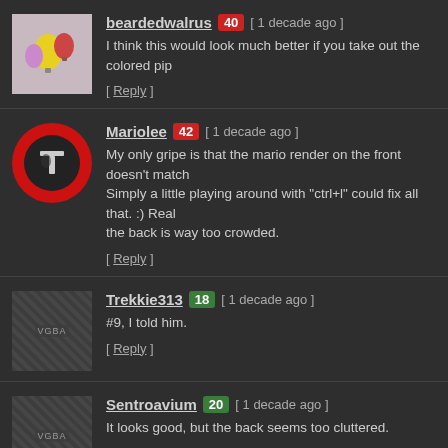beardedwalrus 40 [ 1 decade ago ] I think this would look much better if you take out the colored pip… [ Reply ]
Mariolee 42 [ 1 decade ago ] My only gripe is that the mario render on the front doesn't match. Simply a little playing around with "ctrl+l" could fix all that. :) Real the back is way too crowded. [ Reply ]
Trekkie313 18 [ 1 decade ago ] #9, I told him. [ Reply ]
Sentroavium 20 [ 1 decade ago ] It looks good, but the back seems too cluttered. [ Reply ]